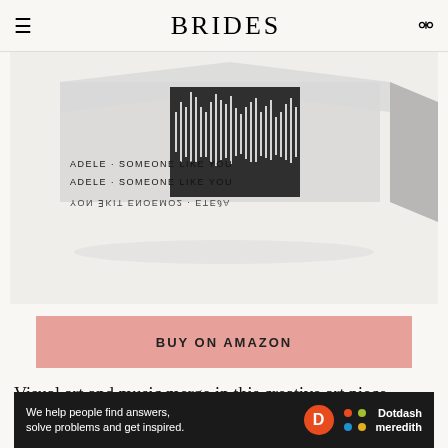BRIDES
[Figure (photo): Close-up product photo of an acrylic sound wave art block displaying 'ADELE - SOMEONE LIKE YOU' text with sound wave visualization printed on mirrored/clear acrylic]
BUY ON AMAZON
Visual art and music merge in this creative art piece. Send the sound file of a recording or a favorite song and
[Figure (logo): Dotdash Meredith advertisement banner: 'We help people find answers, solve problems and get inspired.' with Dotdash Meredith logo]